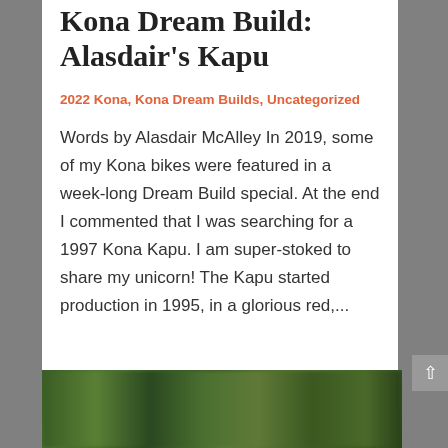Kona Dream Build: Alasdair's Kapu
2022 Kona, Kona Dream Builds, Uncategorized
Words by Alasdair McAlley In 2019, some of my Kona bikes were featured in a week-long Dream Build special. At the end I commented that I was searching for a 1997 Kona Kapu. I am super-stoked to share my unicorn! The Kapu started production in 1995, in a glorious red,...
[Figure (photo): Blurred outdoor/nature scene with green foliage, motion blur effect]